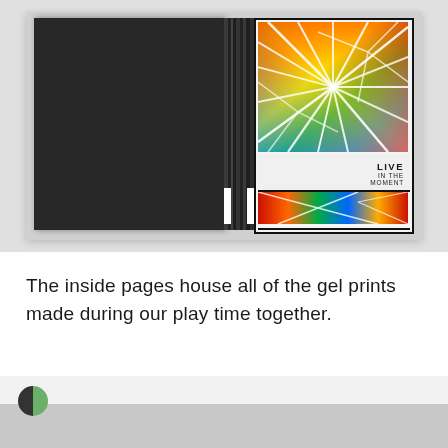[Figure (photo): An open book/journal with a black left cover and a right cover featuring colorful abstract gel print artwork with white starburst lines. Text on the right cover reads 'LIVE IN THE MOMENT'. A small strip of similar colorful artwork appears at the bottom of the right cover.]
The inside pages house all of the gel prints made during our play time together.